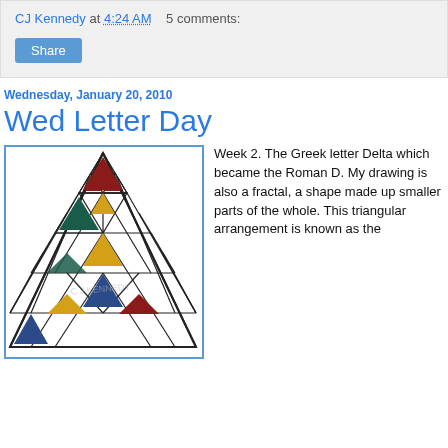CJ Kennedy at 4:24 AM   5 comments:
Share
Wednesday, January 20, 2010
Wed Letter Day
[Figure (illustration): A triangular fractal arrangement of smaller triangles, some filled with colors (dark red, gold, teal/dark green, blue, dark red), arranged in a Sierpinski-triangle-like pattern. The drawing has a watermark 'C J KENNEDY'.]
Week 2. The Greek letter Delta which became the Roman D. My drawing is also a fractal, a shape made up smaller parts of the whole. This triangular arrangement is known as the Sierpinski...